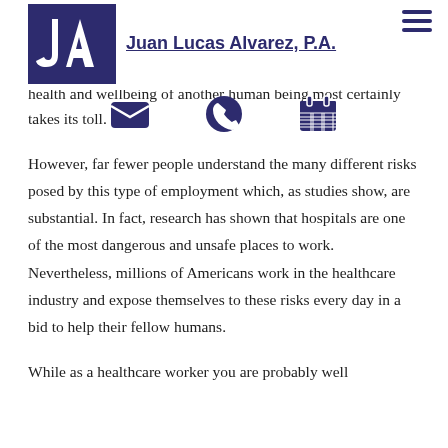[Figure (logo): Juan Lucas Alvarez P.A. law firm logo — dark purple square with stylized 'JA' letters, accompanied by firm name text in dark purple underlined.]
Many people realize that being a healthcare worker can be a challenging and exhaustive job. Long hours, difficult patients, the constant pressure knowing that you are responsible for the health and wellbeing of another human being most certainly takes its toll.
However, far fewer people understand the many different risks posed by this type of employment which, as studies show, are substantial. In fact, research has shown that hospitals are one of the most dangerous and unsafe places to work. Nevertheless, millions of Americans work in the healthcare industry and expose themselves to these risks every day in a bid to help their fellow humans.
While as a healthcare worker you are probably well